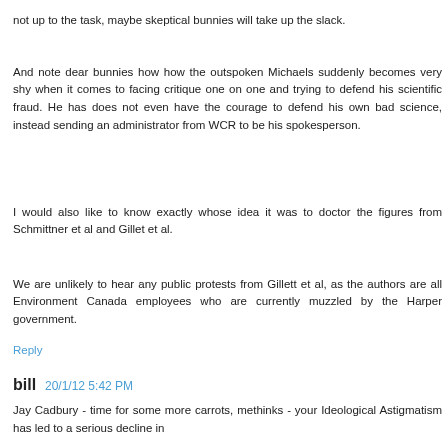not up to the task, maybe skeptical bunnies will take up the slack.
And note dear bunnies how how the outspoken Michaels suddenly becomes very shy when it comes to facing critique one on one and trying to defend his scientific fraud. He has does not even have the courage to defend his own bad science, instead sending an administrator from WCR to be his spokesperson.
I would also like to know exactly whose idea it was to doctor the figures from Schmittner et al and Gillet et al.
We are unlikely to hear any public protests from Gillett et al, as the authors are all Environment Canada employees who are currently muzzled by the Harper government.
Reply
bill  20/1/12 5:42 PM
Jay Cadbury - time for some more carrots, methinks - your Ideological Astigmatism has led to a serious decline in